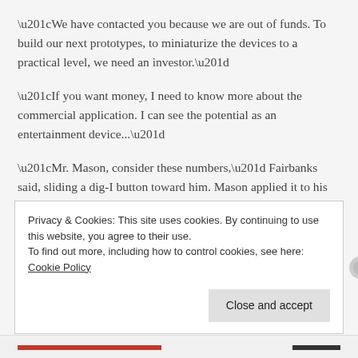“We have contacted you because we are out of funds. To build our next prototypes, to miniaturize the devices to a practical level, we need an investor.”
“If you want money, I need to know more about the commercial application. I can see the potential as an entertainment device...”
“Mr. Mason, consider these numbers,” Fairbanks said, sliding a dig-I button toward him. Mason applied it to his smart device and began flipping through charts and tables. “The first charts indicate the earnings potential for the system as an
Privacy & Cookies: This site uses cookies. By continuing to use this website, you agree to their use.
To find out more, including how to control cookies, see here: Cookie Policy
Close and accept